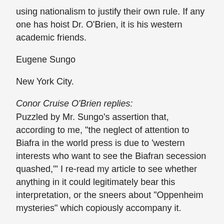using nationalism to justify their own rule. If any one has hoist Dr. O'Brien, it is his western academic friends.
Eugene Sungo
New York City.
Conor Cruise O'Brien replies: Puzzled by Mr. Sungo's assertion that, according to me, "the neglect of attention to Biafra in the world press is due to 'western interests who want to see the Biafran secession quashed,'" I re-read my article to see whether anything in it could legitimately bear this interpretation, or the sneers about "Oppenheim mysteries" which copiously accompany it.
My references to Western interests are used in fact not in reference to the Nigerian conflict but to the secession of Katanga, which I correctly described as backed by these interests, about whose composition there is no mystery,